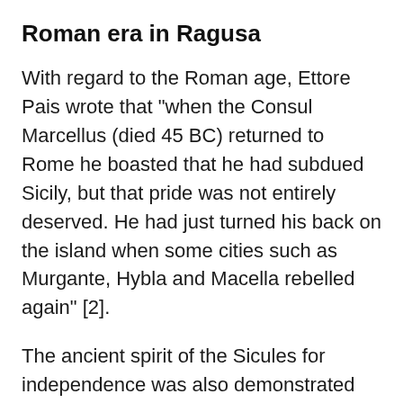Roman era in Ragusa
With regard to the Roman age, Ettore Pais wrote that "when the Consul Marcellus (died 45 BC) returned to Rome he boasted that he had subdued Sicily, but that pride was not entirely deserved. He had just turned his back on the island when some cities such as Murgante, Hybla and Macella rebelled again" [2].
The ancient spirit of the Sicules for independence was also demonstrated against the Romans with Hybla among the rebellious cities. The problem is that because of the multiple "Hyblae" which existed in Sicily we do not know with absolute certainty which one was the "rebel" Hybla.